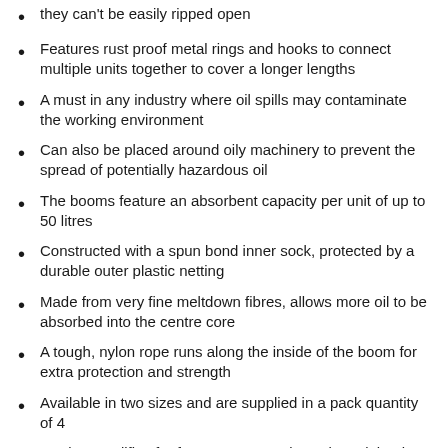they can't be easily ripped open
Features rust proof metal rings and hooks to connect multiple units together to cover a longer lengths
A must in any industry where oil spills may contaminate the working environment
Can also be placed around oily machinery to prevent the spread of potentially hazardous oil
The booms feature an absorbent capacity per unit of up to 50 litres
Constructed with a spun bond inner sock, protected by a durable outer plastic netting
Made from very fine meltdown fibres, allows more oil to be absorbed into the centre core
A tough, nylon rope runs along the inside of the boom for extra protection and strength
Available in two sizes and are supplied in a pack quantity of 4
Product qualifies for free postage to places in mainland Great Britain